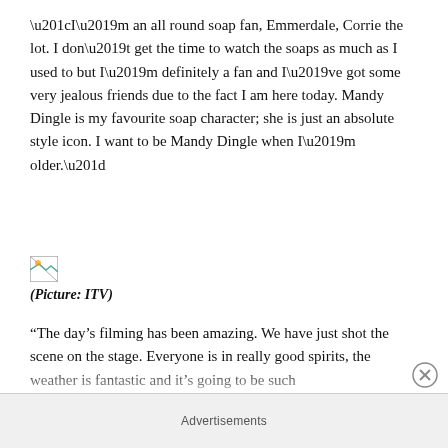“I’m an all round soap fan, Emmerdale, Corrie the lot. I don’t get the time to watch the soaps as much as I used to but I’m definitely a fan and I’ve got some very jealous friends due to the fact I am here today. Mandy Dingle is my favourite soap character; she is just an absolute style icon. I want to be Mandy Dingle when I’m older.”
[Figure (photo): Broken/missing image placeholder]
(Picture: ITV)
“The day’s filming has been amazing. We have just shot the scene on the stage. Everyone is in really good spirits, the weather is fantastic and it’s going to be such
Advertisements